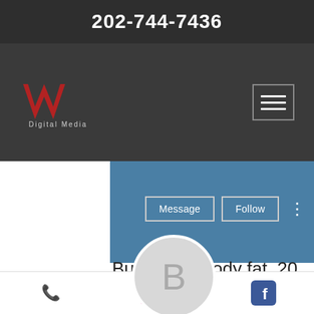202-744-7436
[Figure (logo): Washington Digital Media logo with stylized red W and text]
[Figure (other): Hamburger menu button (three horizontal lines in a bordered square)]
[Figure (other): Blue profile banner with Message and Follow buttons and avatar circle showing letter B]
Bulking 20 body fat, 20 perce...
0 Followers • 0 Following
[Figure (other): Dropdown chevron in a divided row]
Profile
Phone, Email, Facebook icons